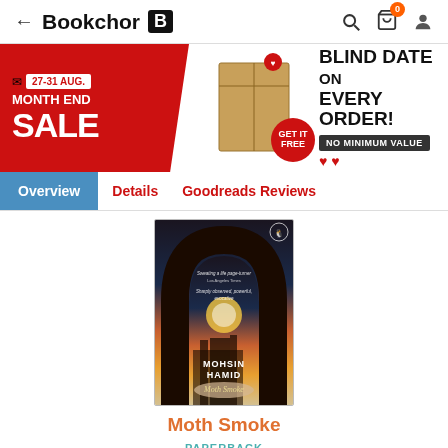← Bookchor B
[Figure (infographic): Month End Sale banner: 27-31 AUG. MONTH END SALE in red on left, wrapped book in center with GET IT FREE badge, BLIND DATE ON EVERY ORDER! with NO MINIMUM VALUE on right]
Overview   Details   Goodreads Reviews
[Figure (photo): Book cover of Moth Smoke by Mohsin Hamid - Penguin edition showing an arch with a sunset cityscape and a reclining figure]
Moth Smoke
PAPERBACK
Mohsin Hamid
3.84 (773 Ratings)